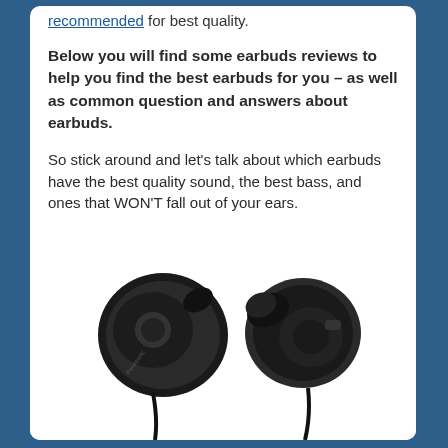recommended for best quality.
Below you will find some earbuds reviews to help you find the best earbuds for you – as well as common question and answers about earbuds.
So stick around and let's talk about which earbuds have the best quality sound, the best bass, and ones that WON'T fall out of your ears.
[Figure (photo): Photo of a pair of black in-ear earbuds (Panasonic brand), showing both earpieces with cables hanging down, on a white background.]